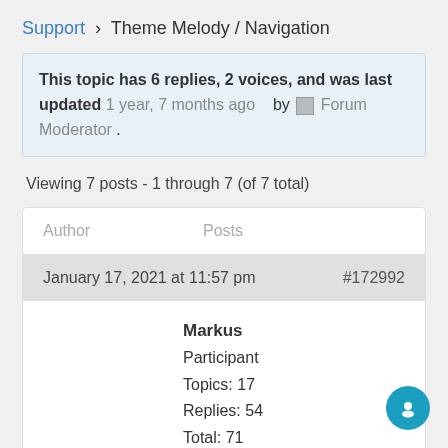Support › Theme Melody / Navigation
This topic has 6 replies, 2 voices, and was last updated 1 year, 7 months ago   by  Forum Moderator .
Viewing 7 posts - 1 through 7 (of 7 total)
| Author | Posts |
| --- | --- |
| January 17, 2021 at 11:57 pm | #172992 |
| Markus
Participant
Topics: 17
Replies: 54
Total: 71 |  |
Markus
Participant
Topics: 17
Replies: 54
Total: 71